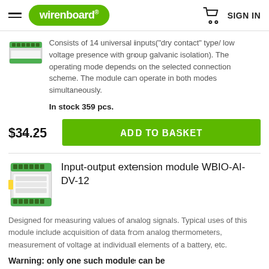wirenboard — SIGN IN
Consists of 14 universal inputs("dry contact" type/ low voltage presence with group galvanic isolation). The operating mode depends on the selected connection scheme. The module can operate in both modes simultaneously.
In stock 359 pcs.
$34.25
ADD TO BASKET
Input-output extension module WBIO-AI-DV-12
Designed for measuring values of analog signals. Typical uses of this module include acquisition of data from analog thermometers, measurement of voltage at individual elements of a battery, etc.
Warning: only one such module can be